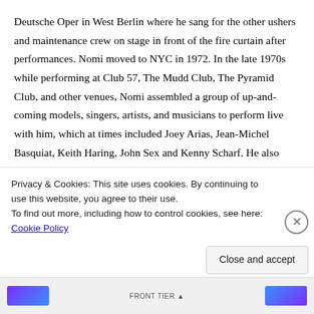Deutsche Oper in West Berlin where he sang for the other ushers and maintenance crew on stage in front of the fire curtain after performances. Nomi moved to NYC in 1972. In the late 1970s while performing at Club 57, The Mudd Club, The Pyramid Club, and other venues, Nomi assembled a group of up-and-coming models, singers, artists, and musicians to perform live with him, which at times included Joey Arias, Jean-Michel Basquiat, Keith Haring, John Sex and Kenny Scharf. He also appeared on Manhattan Cable's TV Party. David Bowie heard about Nomi when performing in New York and...
Privacy & Cookies: This site uses cookies. By continuing to use this website, you agree to their use.
To find out more, including how to control cookies, see here: Cookie Policy
Close and accept